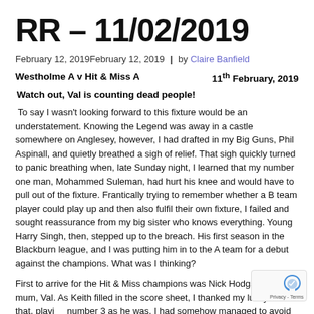RR – 11/02/2019
February 12, 2019February 12, 2019  |  by Claire Banfield
Westholme A v Hit & Miss A	11th February, 2019
Watch out, Val is counting dead people!
To say I wasn't looking forward to this fixture would be an understatement. Knowing the Legend was away in a castle somewhere on Anglesey, however, I had drafted in my Big Guns, Phil Aspinall, and quietly breathed a sigh of relief. That sigh quickly turned to panic breathing when, late Sunday night, I learned that my number one man, Mohammed Suleman, had hurt his knee and would have to pull out of the fixture. Frantically trying to remember whether a B team player could play up and then also fulfil their own fixture, I failed and sought reassurance from my big sister who knows everything. Young Harry Singh, then, stepped up to the breach. His first season in the Blackburn league, and I was putting him in to the A team for a debut against the champions. What was I thinking?
First to arrive for the Hit & Miss champions was Nick Hodgson with mum, Val. As Keith filled in the score sheet, I thanked my lucky stars that, playing number 3 as he was, I had somehow managed to avoid playing against this super star. I would leave that to my Big Guns, Phil, who I'd also placed at number 3.